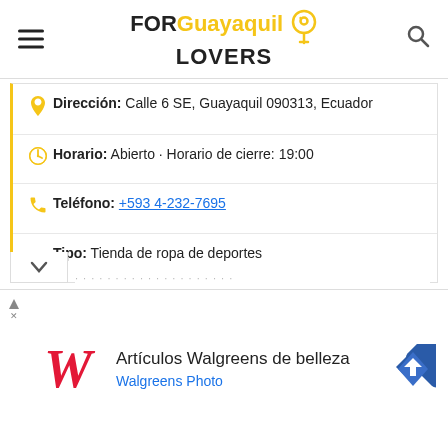FOR Guayaquil LOVERS
Dirección: Calle 6 SE, Guayaquil 090313, Ecuador
Horario: Abierto · Horario de cierre: 19:00
Teléfono: +593 4-232-7695
Tipo: Tienda de ropa de deportes
No hay ofertas disponibles.
Cerca de Bodega Deportiva Matías Sports:
a 4 metros de distancia tiendas adidas: TOP TEN SPORTS
Artículos Walgreens de belleza Walgreens Photo